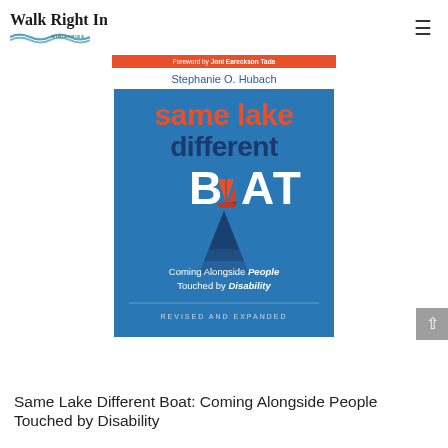Walk Right In Ministries
[Figure (illustration): Book cover of 'Same Lake Different Boat: Coming Alongside People Touched by Disability' by Stephanie O. Hubach, revised and expanded edition. Foreword by Joni Eareckson Tada. Blue cover with sailboat imagery. Orange and blue text.]
Same Lake Different Boat: Coming Alongside People Touched by Disability